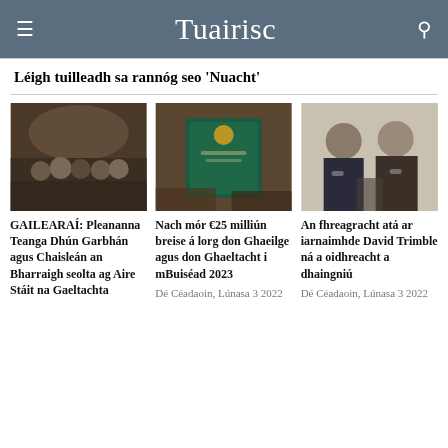Tuairisc
Léigh tuilleadh sa rannóg seo 'Nuacht'
[Figure (photo): Group photo of people at an event, standing in an ornate hall]
GAILEARAÍ: Pleananna Teanga Dhún Garbhán agus Chaisleán an Bharraigh seolta ag Aire Stáit na Gaeltachta
[Figure (photo): Person holding a dark green official government document/folder]
Nach mór €25 milliún breise á lorg don Ghaeilge agus don Ghaeltacht i mBuiséad 2023
Dé Céadaoin, Lúnasa 3 2022
[Figure (photo): Two men in suits shaking hands, one wearing glasses]
An fhreagracht atá ar iarnaimhde David Trimble ná a oidhreacht a dhaingniú
Dé Céadaoin, Lúnasa 3 2022